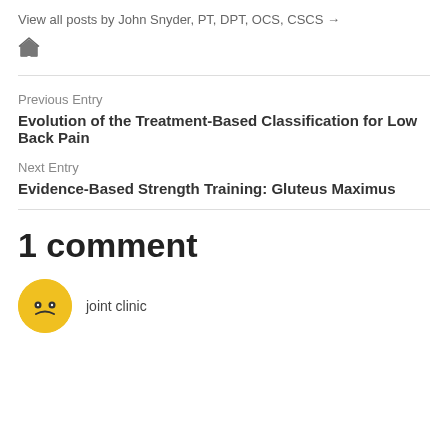View all posts by John Snyder, PT, DPT, OCS, CSCS →
[Figure (illustration): Home icon (house symbol) in gray]
Previous Entry
Evolution of the Treatment-Based Classification for Low Back Pain
Next Entry
Evidence-Based Strength Training: Gluteus Maximus
1 comment
joint clinic